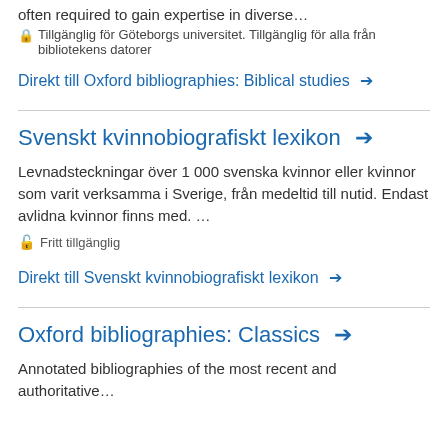often required to gain expertise in diverse…
🔒 Tillgänglig för Göteborgs universitet. Tillgänglig för alla från bibliotekens datorer
Direkt till Oxford bibliographies: Biblical studies →
Svenskt kvinnobiografiskt lexikon →
Levnadsteckningar över 1 000 svenska kvinnor eller kvinnor som varit verksamma i Sverige, från medeltid till nutid. Endast avlidna kvinnor finns med. …
🔓 Fritt tillgänglig
Direkt till Svenskt kvinnobiografiskt lexikon →
Oxford bibliographies: Classics →
Annotated bibliographies of the most recent and authoritative…